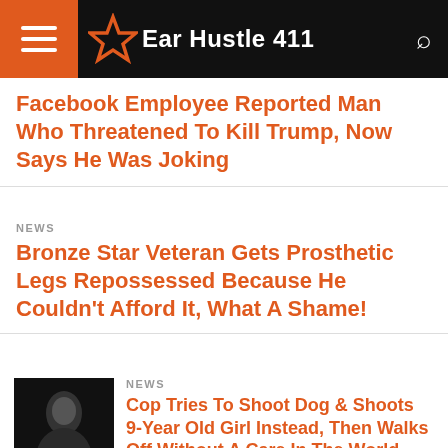Ear Hustle 411
Facebook Employee Reported Man Who Threatened To Kill Trump, Now Says He Was Joking
NEWS
Bronze Star Veteran Gets Prosthetic Legs Repossessed Because He Couldn't Afford It, What A Shame!
NEWS
[Figure (photo): Dark image of a person, related to police shooting news story]
Cop Tries To Shoot Dog & Shoots 9-Year Old Girl Instead, Then Walks Off Without A Care In The World
[Figure (other): BELK advertisement banner with denim clothing image]
BELK
Denim all day.
www.belk.com